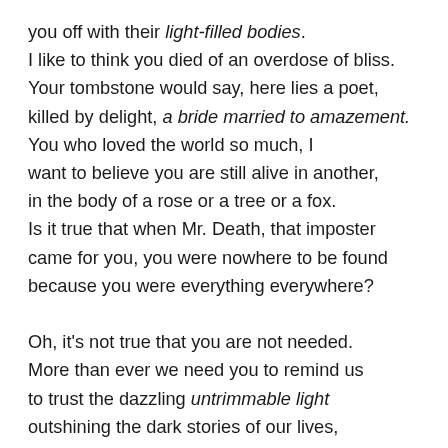you off with their light-filled bodies.
I like to think you died of an overdose of bliss.
Your tombstone would say, here lies a poet,
killed by delight, a bride married to amazement.
You who loved the world so much, I
want to believe you are still alive in another,
in the body of a rose or a tree or a fox.
Is it true that when Mr. Death, that imposter
came for you, you were nowhere to be found
because you were everything everywhere?

Oh, it's not true that you are not needed.
More than ever we need you to remind us
to trust the dazzling untrimmable light
outshining the dark stories of our lives,
to call us to be astonished by this
one wild and precious life, and in the end
be brave enough to give up the world.